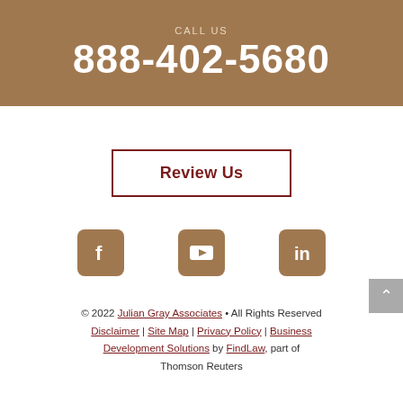CALL US
888-402-5680
Review Us
[Figure (illustration): Three social media icons in brown/tan rounded squares: Facebook (f), YouTube (play button), LinkedIn (in)]
© 2022 Julian Gray Associates • All Rights Reserved
Disclaimer | Site Map | Privacy Policy | Business Development Solutions by FindLaw, part of Thomson Reuters